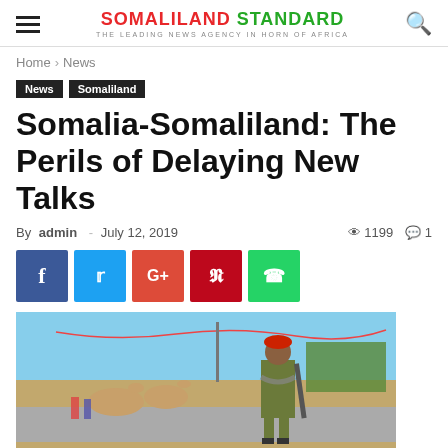SOMALILAND STANDARD — THE LEADING NEWS AGENCY IN HORN OF AFRICA
Home › News
News  Somaliland
Somalia-Somaliland: The Perils of Delaying New Talks
By admin - July 12, 2019  👁 1199  💬 1
[Figure (other): Social sharing buttons: Facebook, Twitter, Google+, Pinterest, WhatsApp]
[Figure (photo): A soldier in military uniform with a red beret and weapon, standing in front of a parade with camels and people in traditional dress on a street.]